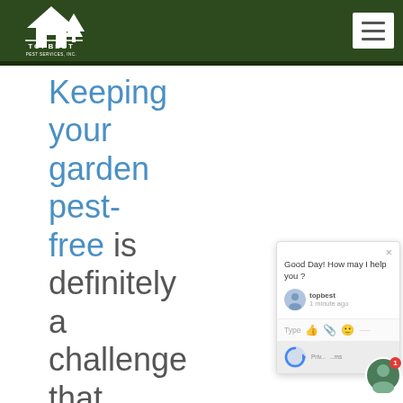[Figure (logo): Topbest Pest Services Inc. logo — white house with tree on dark green background, white text 'TOPBEST' and 'PEST SERVICES INC.']
Keeping your garden pest-free is definitely a challenge that can have many different
[Figure (screenshot): Chat widget popup showing message 'Good Day! How may I help you?' from topbest, 1 minute ago, with Type input bar and icons]